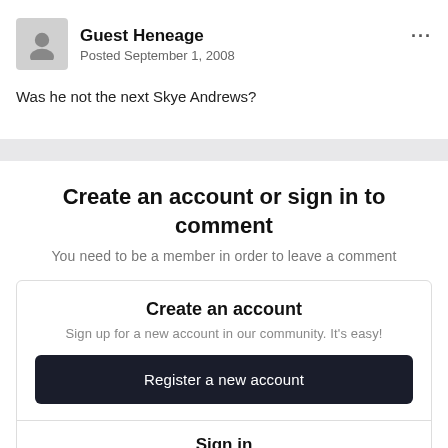Guest Heneage
Posted September 1, 2008
Was he not the next Skye Andrews?
Create an account or sign in to comment
You need to be a member in order to leave a comment
Create an account
Sign up for a new account in our community. It's easy!
Register a new account
Sign in
Already have an account? Sign in here.